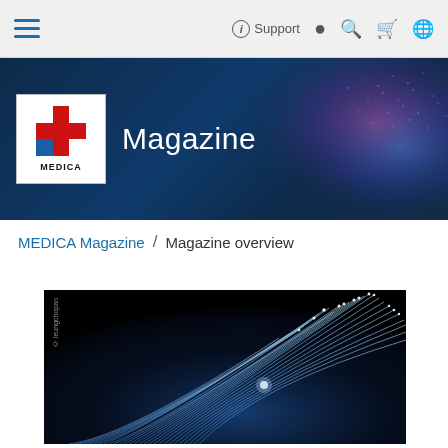≡  Support  👤  🔍  🛒  🌐
[Figure (illustration): MEDICA Magazine banner with logo (MEDICA cross logo) and title 'Magazine' on dark navy blue background with fiber optic/digital particle glow effect on the right side]
MEDICA Magazine / Magazine overview
[Figure (photo): Close-up photograph of glowing fiber optic cables on black background, showing blue-white luminous strands fanning out, with watermark '© leungchopan' on the left side]